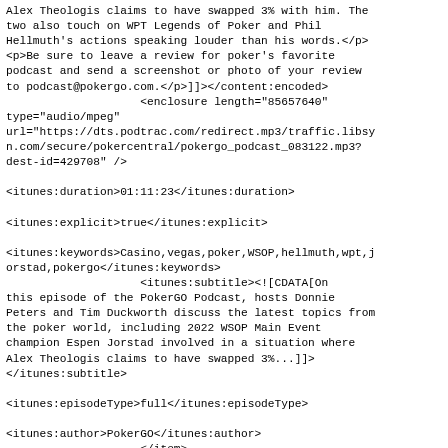Alex Theologis claims to have swapped 3% with him. The two also touch on WPT Legends of Poker and Phil Hellmuth's actions speaking louder than his words.</p>
<p>Be sure to leave a review for poker's favorite podcast and send a screenshot or photo of your review to podcast@pokergo.com.</p>]]></content:encoded>
                    <enclosure length="85657640"
type="audio/mpeg"
url="https://dts.podtrac.com/redirect.mp3/traffic.libsyn.com/secure/pokercentral/pokergo_podcast_083122.mp3?dest-id=429708" />

<itunes:duration>01:11:23</itunes:duration>

<itunes:explicit>true</itunes:explicit>

<itunes:keywords>Casino,vegas,poker,WSOP,hellmuth,wpt,jorstad,pokergo</itunes:keywords>
                    <itunes:subtitle><![CDATA[On this episode of the PokerGO Podcast, hosts Donnie Peters and Tim Duckworth discuss the latest topics from the poker world, including 2022 WSOP Main Event champion Espen Jorstad involved in a situation where Alex Theologis claims to have swapped 3%...]]>
</itunes:subtitle>

<itunes:episodeType>full</itunes:episodeType>

<itunes:author>PokerGO</itunes:author>
                    </item>
                    <item>